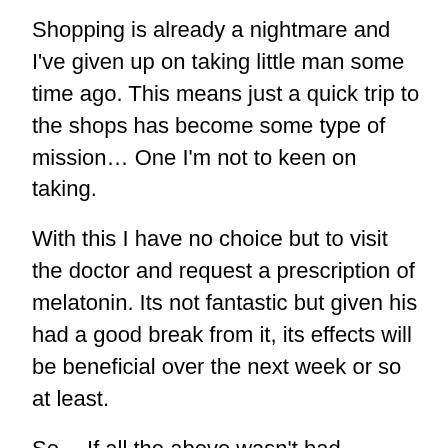Shopping is already a nightmare and I've given up on taking little man some time ago. This means just a quick trip to the shops has become some type of mission… One I'm not to keen on taking.
With this I have no choice but to visit the doctor and request a prescription of melatonin. Its not fantastic but given his had a good break from it, its effects will be beneficial over the next week or so at least.
So… If all the above wasn't bad enough Little man is now spending his days bullying his younger brother rather than getting an education. Its not bully as such, its just his need for control and when his not at school or in bed catching up on the sleep his lost his doing exactly that… Trying to control everything everybody does. Its tiresome!
We are now in July and what happens in July? Little man